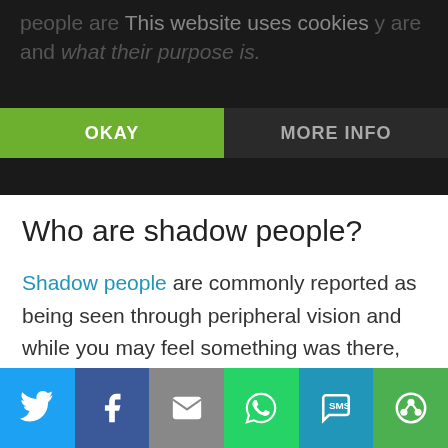people are talking about seeing shadow people and what their purpose is.
This website uses cookies
OKAY
MORE INFO
Who are shadow people?
Shadow people are commonly reported as being seen through peripheral vision and while you may feel something was there, the shadow person is either gone or quickly moving away from you by the time you turn your head.
Parallel dimensional beings
In an interview with Art Bell on Coast to